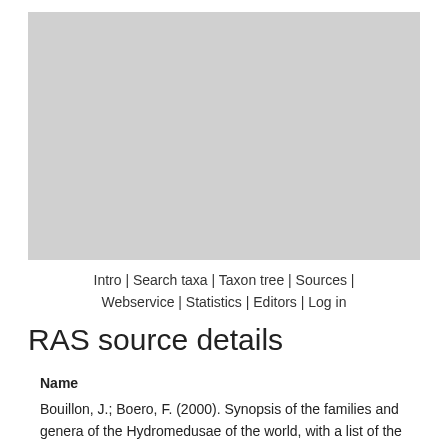[Figure (photo): Large gray placeholder image at top of page]
Intro | Search taxa | Taxon tree | Sources | Webservice | Statistics | Editors | Log in
RAS source details
Name
Bouillon, J.; Boero, F. (2000). Synopsis of the families and genera of the Hydromedusae of the world, with a list of the worldwide species. Thalassia Salent. 24: 47-